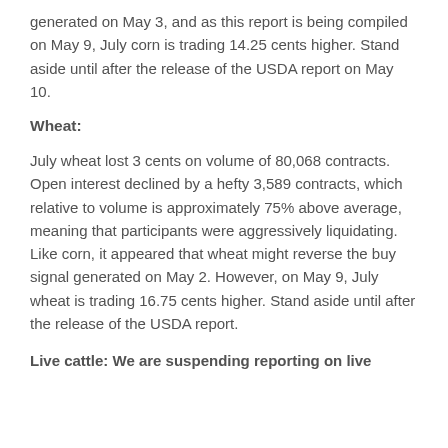generated on May 3, and as this report is being compiled on May 9, July corn is trading 14.25 cents higher. Stand aside until after the release of the USDA report on May 10.
Wheat:
July wheat lost 3 cents on volume of 80,068 contracts. Open interest declined by a hefty 3,589 contracts, which relative to volume is approximately 75% above average, meaning that participants were aggressively liquidating. Like corn, it appeared that wheat might reverse the buy signal generated on May 2. However, on May 9, July wheat is trading 16.75 cents higher. Stand aside until after the release of the USDA report.
Live cattle: We are suspending reporting on live